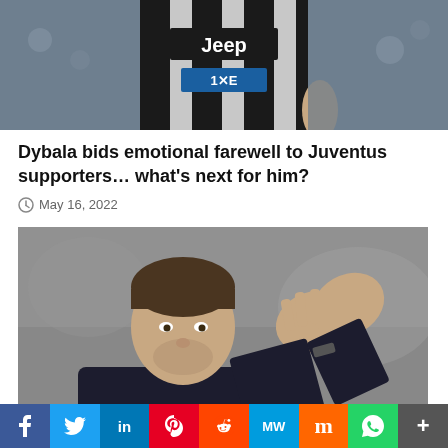[Figure (photo): Partial photo of a Juventus footballer wearing a black-and-white striped jersey with Jeep sponsor and 1XE patch, cropped at torso level]
Dybala bids emotional farewell to Juventus supporters… what's next for him?
May 16, 2022
[Figure (photo): A man in a dark jacket clapping his hands together, appearing emotional, photographed in a stadium setting with blurred background]
f  Twitter  in  Pinterest  Reddit  MW  Mix  WhatsApp  +